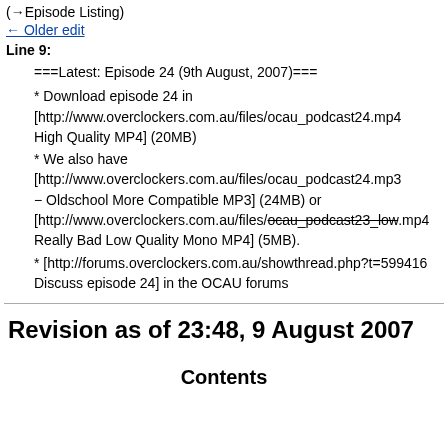(→Episode Listing)
← Older edit
Line 9:
===Latest: Episode 24 (9th August, 2007)===
* Download episode 24 in [http://www.overclockers.com.au/files/ocau_podcast24.mp4 High Quality MP4] (20MB)
* We also have [http://www.overclockers.com.au/files/ocau_podcast24.mp3 − Oldschool More Compatible MP3] (24MB) or [http://www.overclockers.com.au/files/ocau_podcast23_low.mp4 Really Bad Low Quality Mono MP4] (5MB).
* [http://forums.overclockers.com.au/showthread.php?t=599416 Discuss episode 24] in the OCAU forums
Revision as of 23:48, 9 August 2007
Contents